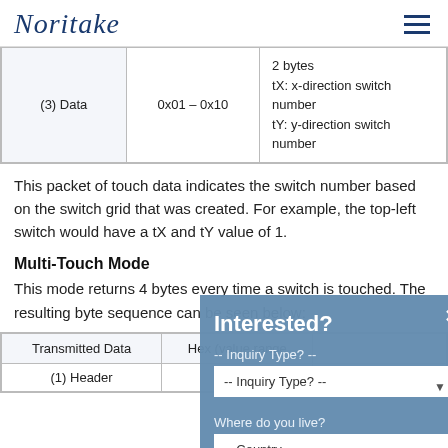Noritake
| Transmitted Data | Hex (value range) | Description |
| --- | --- | --- |
| (3) Data | 0x01 – 0x10 | 2 bytes
tX: x-direction switch number
tY: y-direction switch number |
This packet of touch data indicates the switch number based on the switch grid that was created. For example, the top-left switch would have a tX and tY value of 1.
Multi-Touch Mode
This mode returns 4 bytes every time a switch is touched. The resulting byte sequence can be seen below:
| Transmitted Data | Hex (value range) |  |
| --- | --- | --- |
| (1) Header | 0x10 |  |